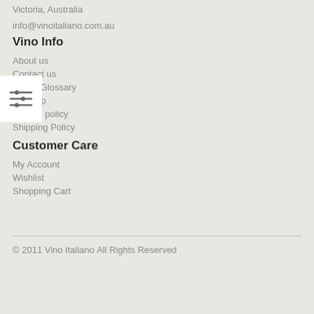Victoria, Australia
info@vinoitaliano.com.au
Vino Info
About us
Contact us
Grape Glossary
Sitemap
Privacy policy
Shipping Policy
Customer Care
My Account
Wishlist
Shopping Cart
© 2011 Vino Italiano All Rights Reserved